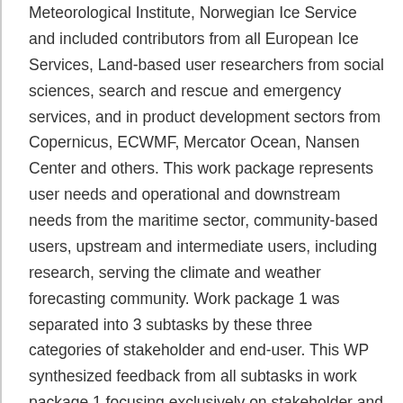Meteorological Institute, Norwegian Ice Service and included contributors from all European Ice Services, Land-based user researchers from social sciences, search and rescue and emergency services, and in product development sectors from Copernicus, ECWMF, Mercator Ocean, Nansen Center and others. This work package represents user needs and operational and downstream needs from the maritime sector, community-based users, upstream and intermediate users, including research, serving the climate and weather forecasting community. Work package 1 was separated into 3 subtasks by these three categories of stakeholder and end-user. This WP synthesized feedback from all subtasks in work package 1 focusing exclusively on stakeholder and end-user needs. The report evaluated specific parameters required by these groups, focusing on